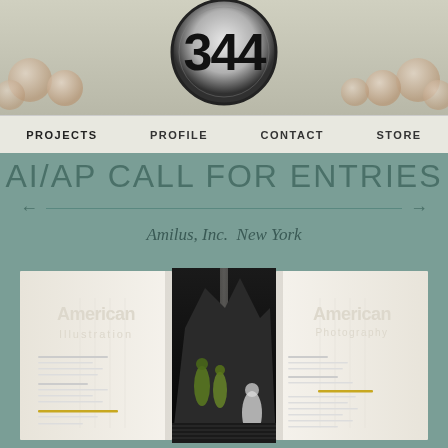[Figure (screenshot): Website header with '344' badge logo over a decorative background with spheres]
PROJECTS  PROFILE  CONTACT  STORE
AI/AP CALL FOR ENTRIES
Amilus, Inc.  New York
[Figure (photo): Three-panel view of an open book/brochure: left panel shows a white page with text and an illustration, center shows a dark dramatic artwork with green figures, right panel shows another white page with text]